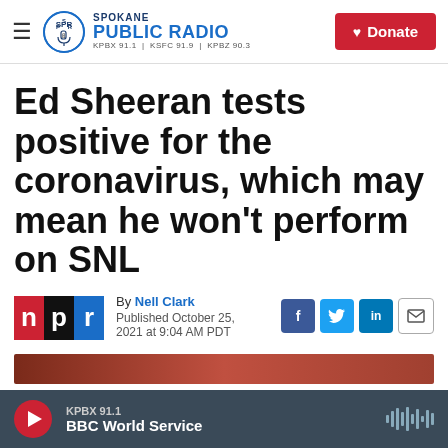Spokane Public Radio — KPBX 91.1 | KSFC 91.9 | KPBZ 90.3 — Donate
Ed Sheeran tests positive for the coronavirus, which may mean he won't perform on SNL
By Nell Clark
Published October 25, 2021 at 9:04 AM PDT
[Figure (logo): NPR logo — red 'n', white 'p', blue 'r' blocks]
[Figure (screenshot): Partial reddish-orange image strip at bottom of article area]
KPBX 91.1
BBC World Service